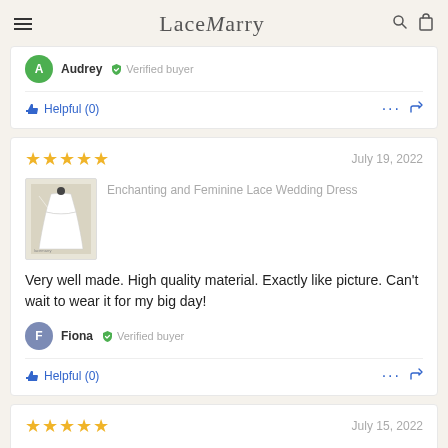LaceMarry
Audrey  Verified buyer
Helpful (0)
★★★★★  July 19, 2022
[Figure (photo): Product thumbnail of a white lace wedding dress]
Enchanting and Feminine Lace Wedding Dress
Very well made. High quality material. Exactly like picture. Can't wait to wear it for my big day!
Fiona  Verified buyer
Helpful (0)
★★★★★  July 15, 2022